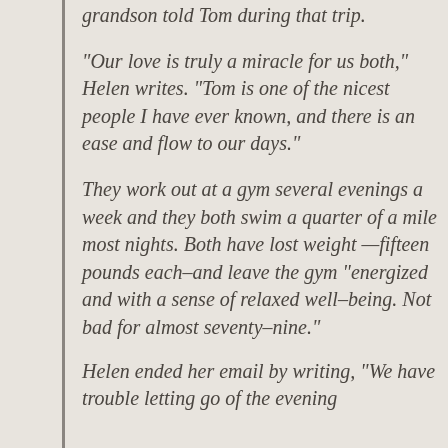grandson told Tom during that trip.
"Our love is truly a miracle for us both," Helen writes. "Tom is one of the nicest people I have ever known, and there is an ease and flow to our days."
They work out at a gym several evenings a week and they both swim a quarter of a mile most nights. Both have lost weight—fifteen pounds each–and leave the gym "energized and with a sense of relaxed well–being. Not bad for almost seventy–nine."
Helen ended her email by writing, "We have trouble letting go of the evening